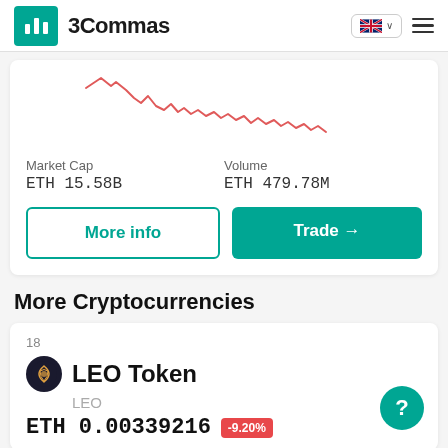3Commas
[Figure (continuous-plot): Red line chart showing price movement, volatile and trending downward]
Market Cap
ETH 15.58B
Volume
ETH 479.78M
More info
Trade →
More Cryptocurrencies
18
LEO Token
LEO
ETH 0.00339216
-9.20%